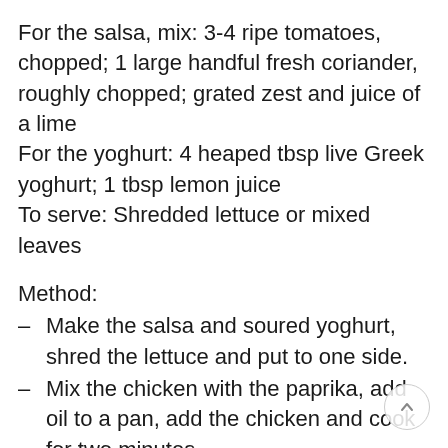For the salsa, mix: 3-4 ripe tomatoes, chopped; 1 large handful fresh coriander, roughly chopped; grated zest and juice of a lime
For the yoghurt: 4 heaped tbsp live Greek yoghurt; 1 tbsp lemon juice
To serve: Shredded lettuce or mixed leaves
Method:
Make the salsa and soured yoghurt, shred the lettuce and put to one side.
Mix the chicken with the paprika, add oil to a pan, add the chicken and cook for two minutes.
Add the onion, peppers and courgette and stir for another two minutes.
Add the cumin, oregano, chilli flakes and salt and carry on cooking for four to five